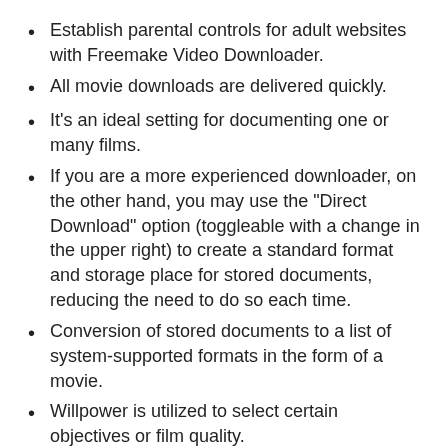Establish parental controls for adult websites with Freemake Video Downloader.
All movie downloads are delivered quickly.
It’s an ideal setting for documenting one or many films.
If you are a more experienced downloader, on the other hand, you may use the “Direct Download” option (toggleable with a change in the upper right) to create a standard format and storage place for stored documents, reducing the need to do so each time.
Conversion of stored documents to a list of system-supported formats in the form of a movie.
Willpower is utilized to select certain objectives or film quality.
Download the file and make any changes you like.
If you click the Freemake Video Downloader Clair...